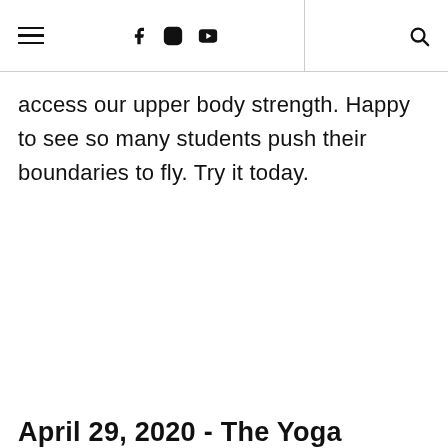[hamburger menu] [facebook] [instagram] [youtube] | [search]
access our upper body strength. Happy to see so many students push their boundaries to fly. Try it today.
April 29, 2020 - The Yoga